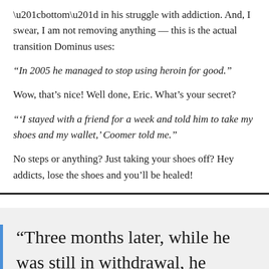“bottom” in his struggle with addiction. And, I swear, I am not removing anything — this is the actual transition Dominus uses:
“In 2005 he managed to stop using heroin for good.”
Wow, that’s nice! Well done, Eric. What’s your secret?
“‘I stayed with a friend for a week and told him to take my shoes and my wallet,’ Coomer told me.”
No steps or anything? Just taking your shoes off? Hey addicts, lose the shoes and you’ll be healed!
“Three months later, while he was still in withdrawal, he